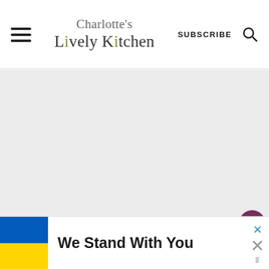Charlotte's Lively Kitchen | SUBSCRIBE
[Figure (screenshot): Large blank/grey content area below the header, main page content area]
[Figure (other): Floating action buttons on right: heart (favourite), share, and logo icon]
We Stand With You